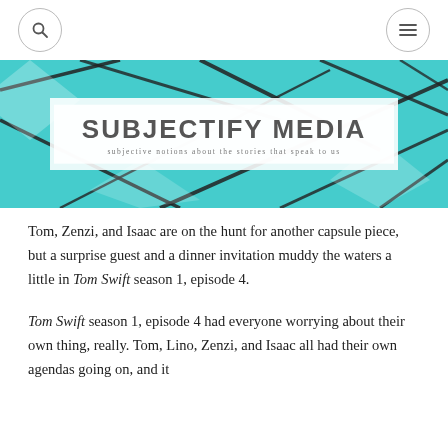[search icon] [menu icon]
[Figure (illustration): Subjectify Media website banner with teal/turquoise background and abstract black line art. A white semi-transparent box contains the site name 'SUBJECTIFY MEDIA' in large bold uppercase letters and subtitle 'subjective notions about the stories that speak to us'.]
Tom, Zenzi, and Isaac are on the hunt for another capsule piece, but a surprise guest and a dinner invitation muddy the waters a little in Tom Swift season 1, episode 4.
Tom Swift season 1, episode 4 had everyone worrying about their own thing, really. Tom, Lino, Zenzi, and Isaac all had their own agendas going on, and it complicated from this and beyond the ultimate goal.